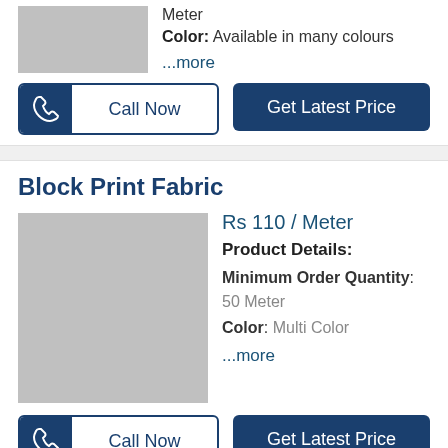Meter
Color: Available in many colours
...more
Call Now | Get Latest Price
Block Print Fabric
[Figure (photo): Grey placeholder image for Block Print Fabric product]
Rs 110 / Meter
Product Details:
Minimum Order Quantity: 50 Meter
Color: Multi Color
...more
Call Now | Get Latest Price